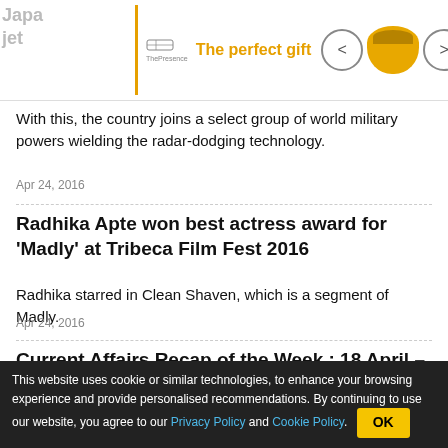[Figure (other): Advertisement banner: 'The perfect gift' with bowl image, navigation arrows, and 35% FREE SHIPPING promotion badge]
With this, the country joins a select group of world military powers wielding the radar-dodging technology.
Apr 24, 2016
Radhika Apte won best actress award for 'Madly' at Tribeca Film Fest 2016
Radhika starred in Clean Shaven, which is a segment of Madly.
Apr 24, 2016
Current Affairs Recap of the Week : 18 April – 23 April 2016
Jagranosh.com brings for its readers the current affairs recap
[Figure (other): Bottom ad banners: BitLife Life Simulator app ad and a social media style ad]
This website uses cookie or similar technologies, to enhance your browsing experience and provide personalised recommendations. By continuing to use our website, you agree to our Privacy Policy and Cookie Policy.